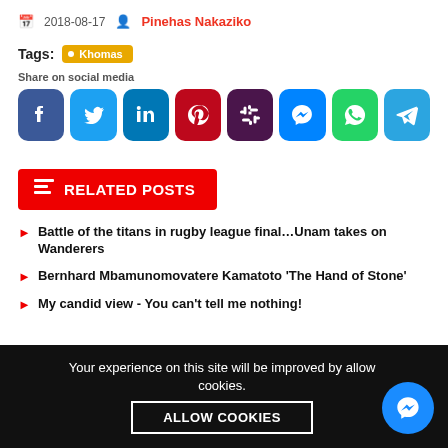2018-08-17  Pinehas Nakaziko
Tags: Khomas
Share on social media
[Figure (other): Social media share buttons: Facebook, Twitter, LinkedIn, Pinterest, Slack, Messenger, WhatsApp, Telegram]
RELATED POSTS
Battle of the titans in rugby league final…Unam takes on Wanderers
Bernhard Mbamunomovatere Kamatoto 'The Hand of Stone'
My candid view - You can't tell me nothing!
Your experience on this site will be improved by allowing cookies.
ALLOW COOKIES